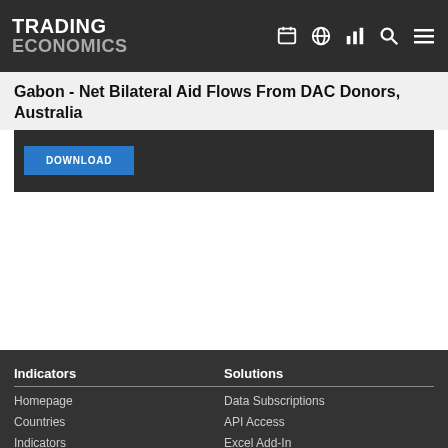TRADING ECONOMICS
Gabon - Net Bilateral Aid Flows From DAC Donors, Australia
[Figure (screenshot): Dark chart area with a blue DOWNLOAD button visible]
Indicators
Solutions
Homepage
Countries
Indicators
Calendar
Data Subscriptions
API Access
Excel Add-In
Developer Account